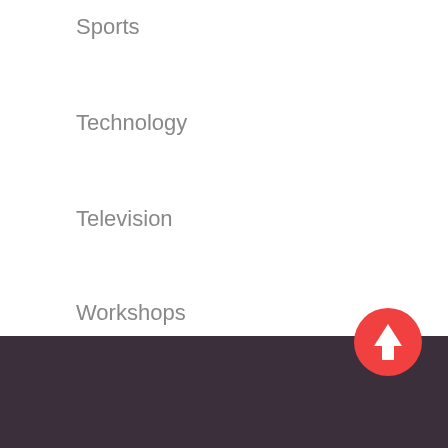Sports
Technology
Television
Workshops